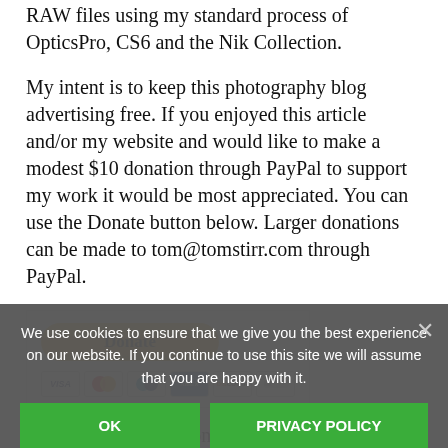RAW files using my standard process of OpticsPro, CS6 and the Nik Collection.
My intent is to keep this photography blog advertising free. If you enjoyed this article and/or my website and would like to make a modest $10 donation through PayPal to support my work it would be most appreciated. You can use the Donate button below. Larger donations can be made to tom@tomstirr.com through PayPal.
[Figure (other): PayPal Donate button with credit card icons (Visa, Mastercard, PayPal, American Express, Discover, and another card)]
As a reminder, the Consulting orders the best extra special 5% ... other products directly from the Amplis Store.
Article and all images copyright 2021 tomstirr. All rights reserved. No use, duplication or adaptation of any kind is...
We use cookies to ensure that we give you the best experience on our website. If you continue to use this site we will assume that you are happy with it.